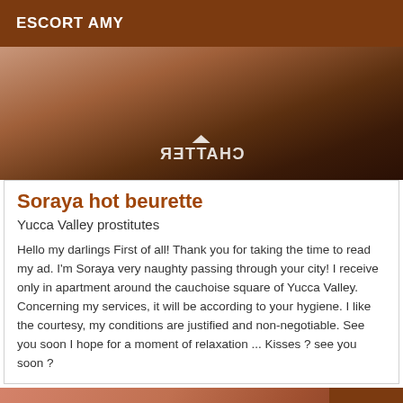ESCORT AMY
[Figure (photo): Close-up photo of a leather belt buckle on a dark wooden surface, with a mirrored CHATTER watermark overlay]
Soraya hot beurette
Yucca Valley prostitutes
Hello my darlings First of all! Thank you for taking the time to read my ad. I'm Soraya very naughty passing through your city! I receive only in apartment around the cauchoise square of Yucca Valley. Concerning my services, it will be according to your hygiene. I like the courtesy, my conditions are justified and non-negotiable. See you soon I hope for a moment of relaxation ... Kisses ? see you soon ?
[Figure (photo): Bottom strip showing a partial photo of orange/red lips, with an 'Online' badge in brown on the right]